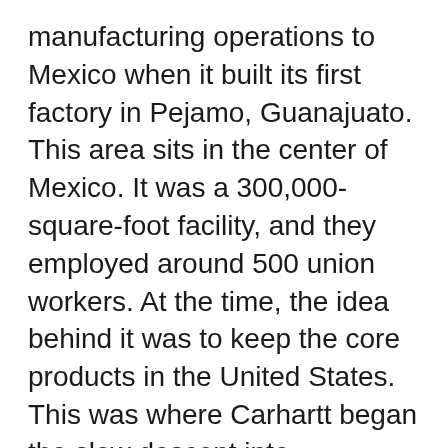manufacturing operations to Mexico when it built its first factory in Pejamo, Guanajuato. This area sits in the center of Mexico. It was a 300,000-square-foot facility, and they employed around 500 union workers. At the time, the idea behind it was to keep the core products in the United States. This was where Carhartt began the slow descent into manufacturing abroad.
By December 2001, they bought a second factory 30 miles away in Irapuato. When 2003 came around, Carhartt had purchased...